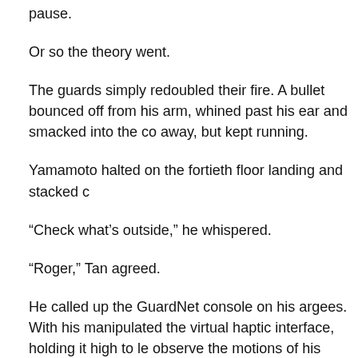pause.
Or so the theory went.
The guards simply redoubled their fire. A bullet bounced off from his arm, whined past his ear and smacked into the co away, but kept running.
Yamamoto halted on the fortieth floor landing and stacked c
“Check what’s outside,” he whispered.
“Roger,” Tan agreed.
He called up the GuardNet console on his argees. With his manipulated the virtual haptic interface, holding it high to le observe the motions of his fingers. His eyes flew to the list the 40th floor.
Eight on the Sixty-second...